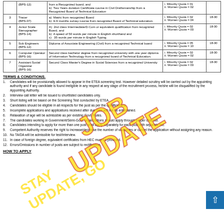| Sr. | Post Name | Qualification | Quota | Age |
| --- | --- | --- | --- | --- |
|  | (BPS-12) | from a Recognized board; and
b) Two Years duration Certificate course in Civil Draftsmanship from a Recognized Board of Technical Education | i. Minority Quota = 01
ii. Women Quota = 02 |  |
| 3 | Tracer
(BPS-07) | a) Matric from recognized Board
b) 6-9 months survey course from recognized Board of Technical education | i. Minority Quota = 02
ii. Women Quota = 04 | 18-30 |
| 4 | Junior Scale Stenographer
(BPS-14) | A) 2nd class Intermediate/D.Com or equivalent qualification from recognized Board, and
b) A speed of 50 words per minute in English shorthand and
c) 35 words per minute in English Typing. | i. Minority Quota = 02
ii. Women Quota = 03 | 18-30 |
| 5 | Sub Engineers
(BPS-12) | Diploma of Associate Engineering (Civil) from a recognized Technical board | i. Minority Quota = 05
ii. Women Quota = 10 | 18-30 |
| 6 | Computer Operator
(BPS-16) | Second class bachelor degree from recognized university with one year diploma of Information Technology from a recognized board of Technical Education. | i. Minority Quota = 02
ii. Women Quota = 02 | 18-30 |
| 7 | Assistant Social Organizer
(BPS-16) | Second Class Master's Degree in Social Sciences from a recognized University | i. Minority Quota = 02
ii. Women Quota = 03 | 18-30 |
TERMS & CONDITIONS.
Candidates will be provisionally allowed to appear in the ETEA screening test. However detailed scrutiny will be carried out by the appointing authority and if any candidate is found ineligible in any respect at any stage of the recruitment process, he/she will be disqualified by the Appointing Authority.
Interview call letter will be issued to shortlisted candidates only.
Short listing will be based on the Screening Test conducted by ETEA.
Candidates should be eligible in all respects for the post as per the qualifications.
Incomplete applications and applications received after due date will not be entertained.
Relaxation of age will be admissible as per existing Govt. Rules.
The candidates working in Government/Semi-Govt. organizations should apply through proper channel.
Candidates intending to apply for more than one post shall apply separately for each post with separate fee.
Competent Authority reserves the right to increase/decrease the number of vacancies or cancel the application without assigning any reason.
No TA/DA will be admissible for test/Interview.
In case of foreign degree, equivalent certificates from HEC must be provided.
Errors/Omissions in number of posts are subject to rectification.
HOW TO APPLY